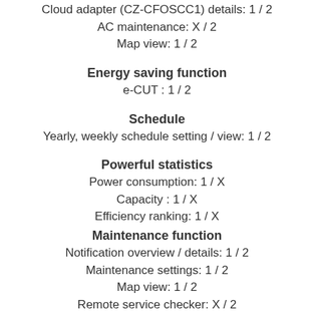Cloud adapter (CZ-CFOSCC1) details: 1 / 2
AC maintenance: X / 2
Map view: 1 / 2
Energy saving function
e-CUT : 1 / 2
Schedule
Yearly, weekly schedule setting / view: 1 / 2
Powerful statistics
Power consumption: 1 / X
Capacity : 1 / X
Efficiency ranking: 1 / X
Maintenance function
Notification overview / details: 1 / 2
Maintenance settings: 1 / 2
Map view: 1 / 2
Remote service checker: X / 2